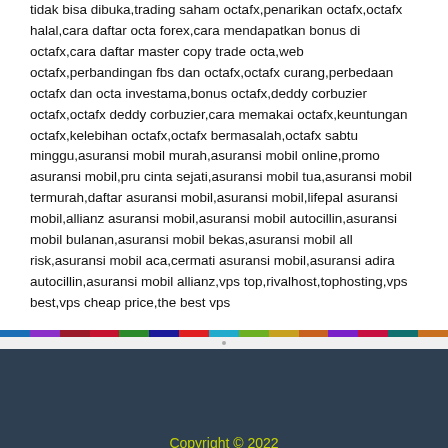tidak bisa dibuka,trading saham octafx,penarikan octafx,octafx halal,cara daftar octa forex,cara mendapatkan bonus di octafx,cara daftar master copy trade octa,web octafx,perbandingan fbs dan octafx,octafx curang,perbedaan octafx dan octa investama,bonus octafx,deddy corbuzier octafx,octafx deddy corbuzier,cara memakai octafx,keuntungan octafx,kelebihan octafx,octafx bermasalah,octafx sabtu minggu,asuransi mobil murah,asuransi mobil online,promo asuransi mobil,pru cinta sejati,asuransi mobil tua,asuransi mobil termurah,daftar asuransi mobil,asuransi mobil,lifepal asuransi mobil,allianz asuransi mobil,asuransi mobil autocillin,asuransi mobil bulanan,asuransi mobil bekas,asuransi mobil all risk,asuransi mobil aca,cermati asuransi mobil,asuransi adira autocillin,asuransi mobil allianz,vps top,rivalhost,tophosting,vps best,vps cheap price,the best vps
Copyright © 2022